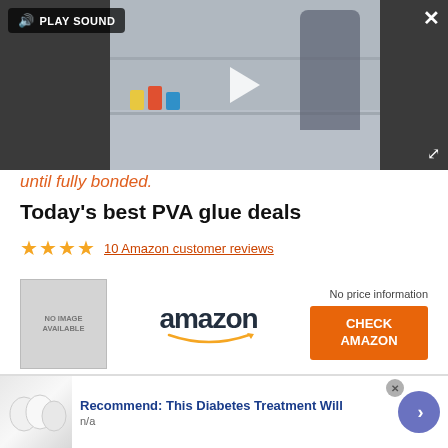[Figure (screenshot): Video player overlay showing a person at a shelf/furniture scene, with a play button in the center, PLAY SOUND button top-left, close (X) button top-right, and expand button bottom-right. Dark gray background on sides.]
until fully bonded.
Today's best PVA glue deals
★★★★ 10 Amazon customer reviews
[Figure (other): Product listing card with NO IMAGE AVAILABLE placeholder, Amazon logo, No price information label, and orange CHECK AMAZON button.]
[Figure (other): Advertisement banner: photo of white eggs on left, blue bold title 'Recommend: This Diabetes Treatment Will', subtext 'n/a', close X button, and blue circular arrow button on right.]